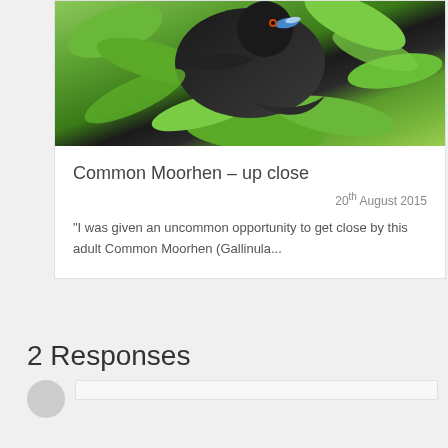[Figure (photo): Close-up photo of a Common Moorhen bird with dark plumage surrounded by green leaves and vegetation]
Common Moorhen – up close
20th August 2015
“I was given an uncommon opportunity to get close by this adult Common Moorhen (Gallinula...
2 Responses
[Figure (illustration): Comment section avatar placeholder (grey circle) with comment input box]